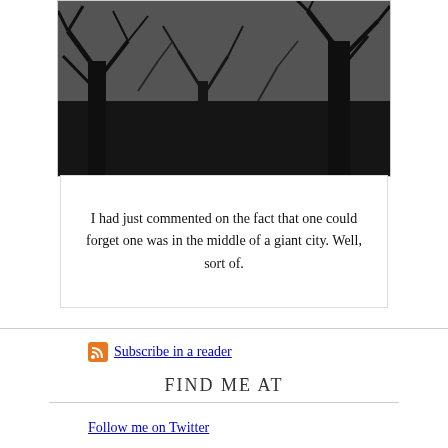[Figure (photo): Black and white photo of bare winter trees silhouetted against a grey sky, taken looking upward through dark tree branches]
I had just commented on the fact that one could forget one was in the middle of a giant city. Well, sort of.
Subscribe in a reader
FIND ME AT
Follow me on Twitter